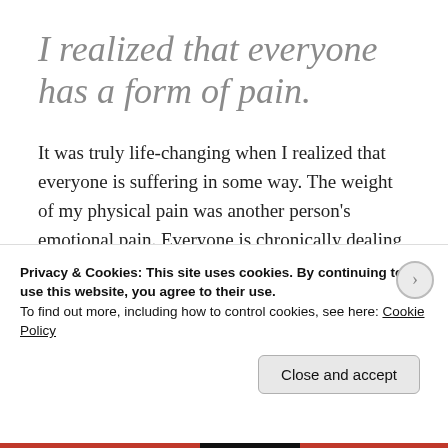I realized that everyone has a form of pain.
It was truly life-changing when I realized that everyone is suffering in some way. The weight of my physical pain was another person’s emotional pain. Everyone is chronically dealing with something difficult in their life.
You are not the one and only soul battling this
Privacy & Cookies: This site uses cookies. By continuing to use this website, you agree to their use.
To find out more, including how to control cookies, see here: Cookie Policy
Close and accept